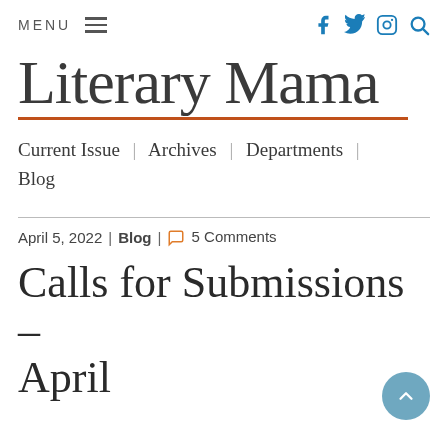MENU  [hamburger icon]  [facebook] [twitter] [instagram] [search]
Literary Mama
Current Issue | Archives | Departments | Blog
April 5, 2022 | Blog | 5 Comments
Calls for Submissions – April